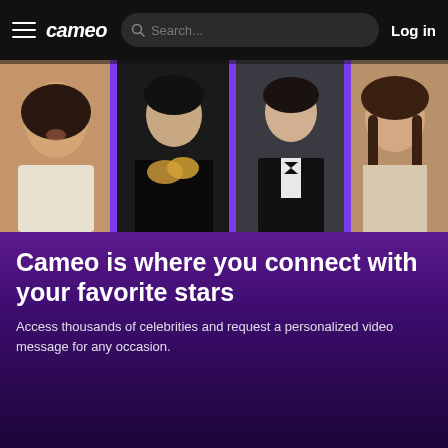cameo | Log in | Search...
[Figure (photo): Hero banner showing four celebrities side by side on a purple background: a woman in white (left), a man in black holding gold shoes, a man in a tuxedo, and a man with long hair (right).]
Cameo is where you connect with your favorite stars
Access thousands of celebrities and request a personalized video message for any occasion.